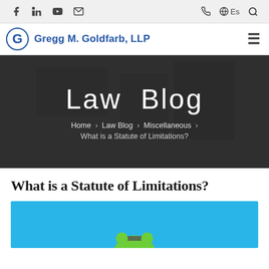Gregg M. Goldfarb, LLP — website header with social icons, phone, language selector, search, and navigation
[Figure (screenshot): Hero banner with dark overlay over a gavel and books background image. Title: Law Blog. Breadcrumb: Home > Law Blog > Miscellaneous > What is a Statute of Limitations?]
What is a Statute of Limitations?
[Figure (photo): Photo of a green alarm clock on a blue background, partially cropped at bottom of page]